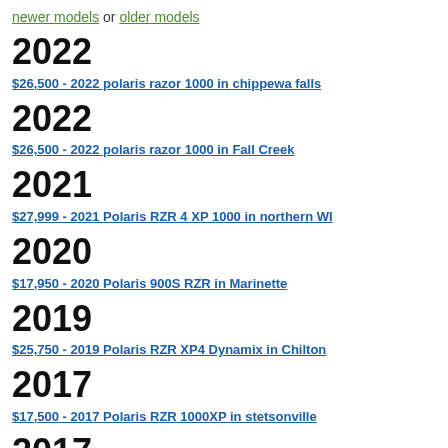newer models or older models
2022
$26,500 - 2022 polaris razor 1000 in chippewa falls
2022
$26,500 - 2022 polaris razor 1000 in Fall Creek
2021
$27,999 - 2021 Polaris RZR 4 XP 1000 in northern WI
2020
$17,950 - 2020 Polaris 900S RZR in Marinette
2019
$25,750 - 2019 Polaris RZR XP4 Dynamix in Chilton
2017
$17,500 - 2017 Polaris RZR 1000XP in stetsonville
2017